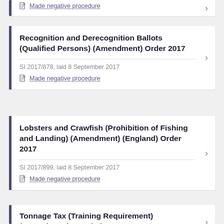Made negative procedure
Recognition and Derecognition Ballots (Qualified Persons) (Amendment) Order 2017
SI 2017/878, laid 8 September 2017
Made negative procedure
Lobsters and Crawfish (Prohibition of Fishing and Landing) (Amendment) (England) Order 2017
SI 2017/899, laid 8 September 2017
Made negative procedure
Tonnage Tax (Training Requirement) (Amendment) Regulations 2017